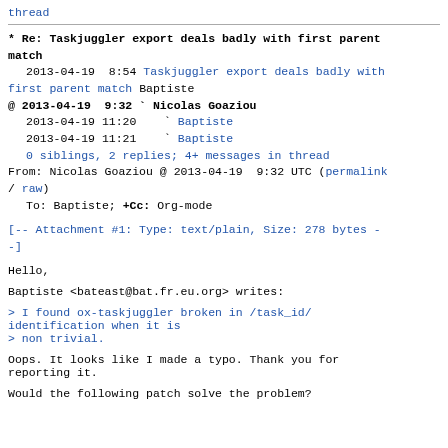thread (link)
* Re: Taskjuggler export deals badly with first parent match
2013-04-19  8:54 Taskjuggler export deals badly with first parent match Baptiste
@ 2013-04-19  9:32 ` Nicolas Goaziou
  2013-04-19 11:20   ` Baptiste
  2013-04-19 11:21   ` Baptiste
  0 siblings, 2 replies; 4+ messages in thread
From: Nicolas Goaziou @ 2013-04-19  9:32 UTC (permalink / raw)
  To: Baptiste; +Cc: Org-mode
[-- Attachment #1: Type: text/plain, Size: 278 bytes --]
Hello,
Baptiste <bateast@bat.fr.eu.org> writes:
> I found ox-taskjuggler broken in /task_id/identification when it is
> non trivial.
Oops. It looks like I made a typo. Thank you for reporting it.
Would the following patch solve the problem?